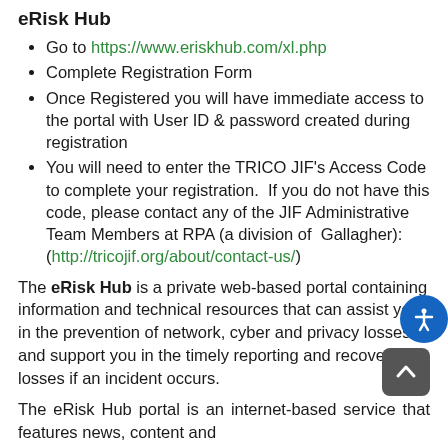eRisk Hub
Go to https://www.eriskhub.com/xl.php
Complete Registration Form
Once Registered you will have immediate access to the portal with User ID & password created during registration
You will need to enter the TRICO JIF's Access Code to complete your registration.  If you do not have this code, please contact any of the JIF Administrative Team Members at RPA (a division of  Gallagher): (http://tricojif.org/about/contact-us/)
The eRisk Hub is a private web-based portal containing information and technical resources that can assist you in the prevention of network, cyber and privacy losses and support you in the timely reporting and recovery of losses if an incident occurs.
The eRisk Hub portal is an internet-based service that features news, content and